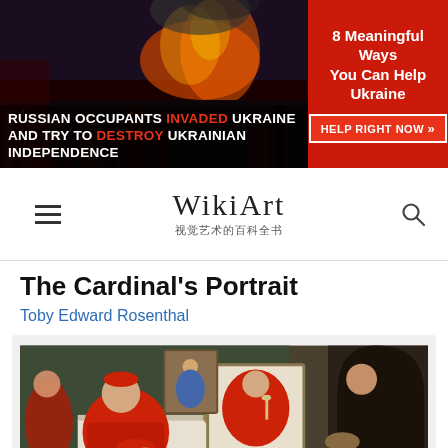[Figure (photo): Banner showing night cityscape with fire/explosion, text overlay: RUSSIAN OCCUPANTS INVADED UKRAINE AND TRY TO DESTROY UKRAINIAN INDEPENDENCE]
[Figure (infographic): Red sidebar banner: 8 Meaningful Ways You Can Help Ukraine, HELP RIGHT NOW button]
WikiArt 视觉艺术的百科全书
The Cardinal's Portrait
Toby Edward Rosenthal
[Figure (photo): Painting showing a cardinal in red robes seated, examining something, with an artist's easel showing his portrait, and a monk standing to the right in a dark studio setting]